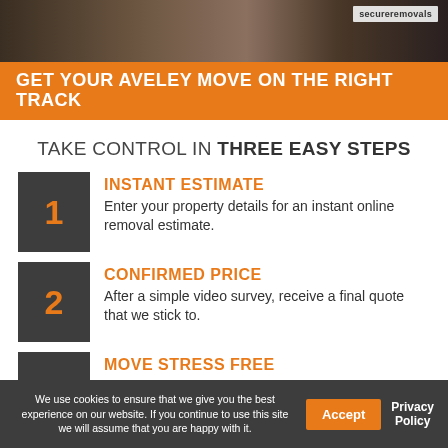[Figure (photo): Photo of moving boxes and movers in background, with secureremovals logo badge in top right]
GET YOUR AVELEY MOVE ON THE RIGHT TRACK
TAKE CONTROL IN THREE EASY STEPS
1 INSTANT ESTIMATE — Enter your property details for an instant online removal estimate.
2 CONFIRMED PRICE — After a simple video survey, receive a final quote that we stick to.
3 MOVE STRESS FREE — Book a date and be professionally moved to your new home.
We use cookies to ensure that we give you the best experience on our website. If you continue to use this site we will assume that you are happy with it.